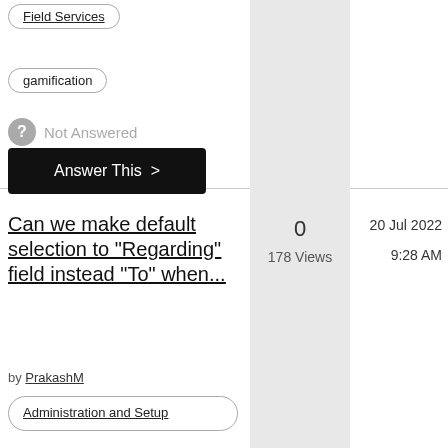Field Services
gamification
Not Answered
Answer This >
Can we make default selection to "Regarding" field instead "To" when...
by PrakashM
0
178 Views
20 Jul 2022
9:28 AM
Administration and Setup